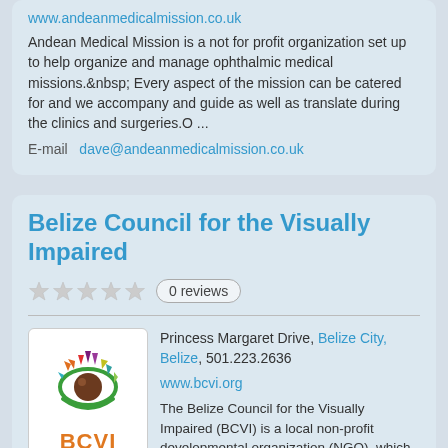www.andeanmedicalmission.co.uk
Andean Medical Mission is a not for profit organization set up to help organize and manage ophthalmic medical missions.  Every aspect of the mission can be catered for and we accompany and guide as well as translate during the clinics and surgeries.O ...
E-mail  dave@andeanmedicalmission.co.uk
Belize Council for the Visually Impaired
0 reviews
Princess Margaret Drive, Belize City, Belize, 501.223.2636
www.bcvi.org
[Figure (logo): BCVI logo — stylized eye with colorful triangular rays/lashes around it and the text 'BCVI' in orange below]
The Belize Council for the Visually Impaired (BCVI) is a local non-profit developmental organization (NGO), which aims to improve the life of the Belizean population by maintaining the maximum visual capacity...